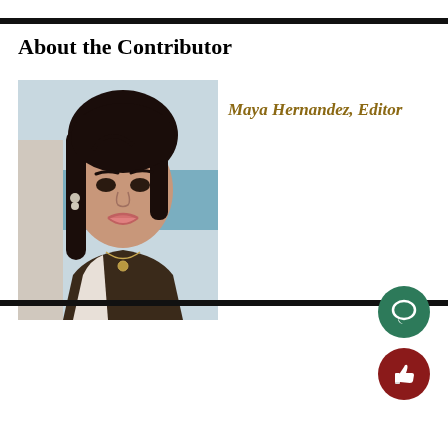About the Contributor
[Figure (photo): Portrait photo of a young woman with dark hair making a duck face expression, wearing a dark brown top and necklace, with ocean/water visible in the background]
Maya Hernandez, Editor